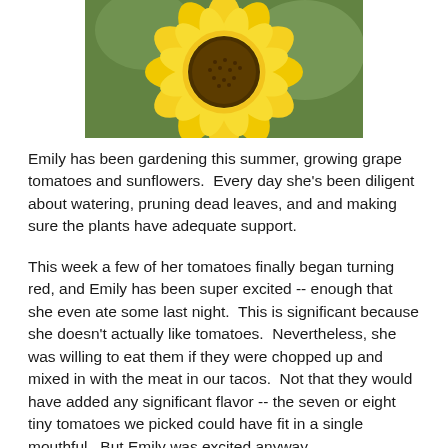[Figure (photo): A large yellow sunflower with a dark brown center, photographed close-up against a green leafy background.]
Emily has been gardening this summer, growing grape tomatoes and sunflowers.  Every day she's been diligent about watering, pruning dead leaves, and and making sure the plants have adequate support.
This week a few of her tomatoes finally began turning red, and Emily has been super excited -- enough that she even ate some last night.  This is significant because she doesn't actually like tomatoes.  Nevertheless, she was willing to eat them if they were chopped up and mixed in with the meat in our tacos.  Not that they would have added any significant flavor -- the seven or eight tiny tomatoes we picked could have fit in a single mouthful.  But Emily was excited anyway.
Now she's planning a tomato business because she's sure